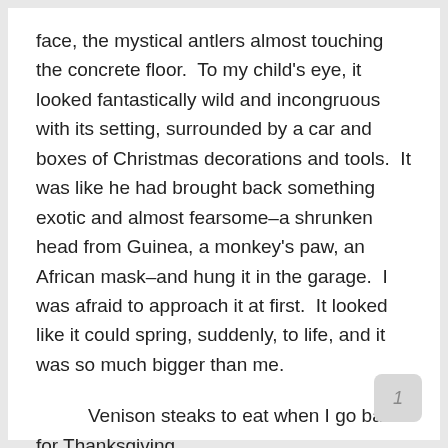face, the mystical antlers almost touching the concrete floor.  To my child's eye, it looked fantastically wild and incongruous with its setting, surrounded by a car and boxes of Christmas decorations and tools.  It was like he had brought back something exotic and almost fearsome–a shrunken head from Guinea, a monkey's paw, an African mask–and hung it in the garage.  I was afraid to approach it at first.  It looked like it could spring, suddenly, to life, and it was so much bigger than me.
Venison steaks to eat when I go back for Thanksgiving.